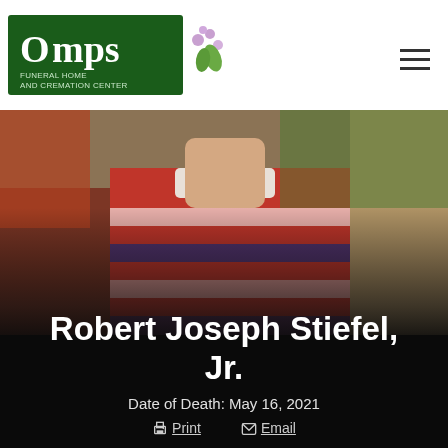[Figure (logo): Omps Funeral Home and Cremation Center logo - green rectangle with white text and small floral decoration]
[Figure (photo): Close-up photo of a person wearing a red, white and blue striped polo shirt, face cropped out, outdoor setting with green background]
Robert Joseph Stiefel, Jr.
Date of Death: May 16, 2021
Print  Email